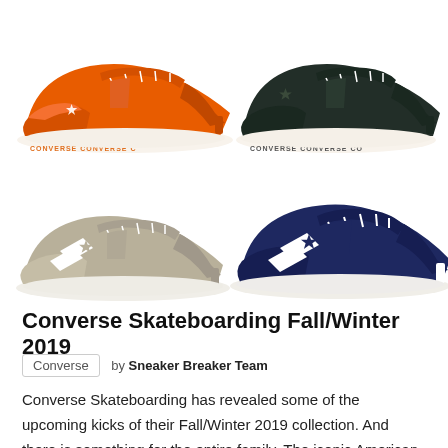[Figure (photo): Four Converse sneakers arranged in a 2x2 grid: top-left is an orange low-top with 'CONVERSE' text on the sole, top-right is a dark green/black low-top with 'CONVERSE' text on the sole, bottom-left is a beige/tan low-top with white star logo, bottom-right is a navy blue low-top with white star logo.]
Converse Skateboarding Fall/Winter 2019
Converse   by Sneaker Breaker Team
Converse Skateboarding has revealed some of the upcoming kicks of their Fall/Winter 2019 collection. And there is something for the entire family. The iconic American shoe company has released (will release) classic models done in their timeless aesthetic. Let's get a